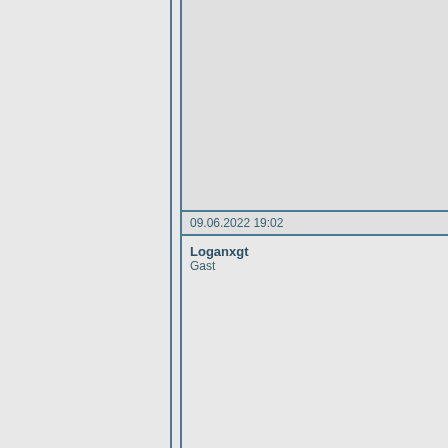09.06.2022 19:02
Loganxgt
Gast